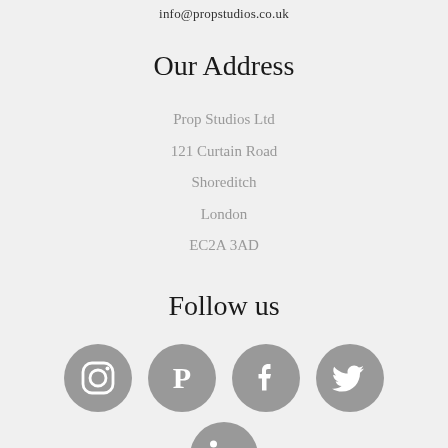info@propstudios.co.uk
Our Address
Prop Studios Ltd
121 Curtain Road
Shoreditch
London
EC2A 3AD
Follow us
[Figure (illustration): Social media icons: Instagram, Pinterest, Facebook, Twitter (row 1) and LinkedIn (row 2), all in grey circles]